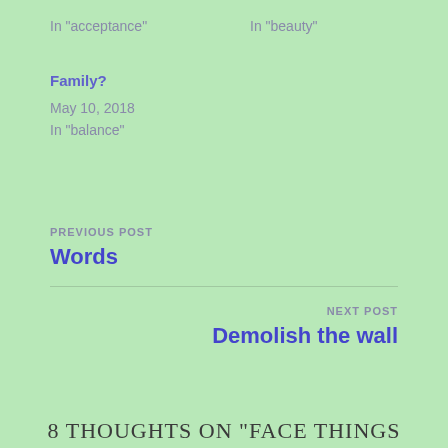In "acceptance"
In "beauty"
Family?
May 10, 2018
In "balance"
PREVIOUS POST
Words
NEXT POST
Demolish the wall
8 THOUGHTS ON "FACE THINGS